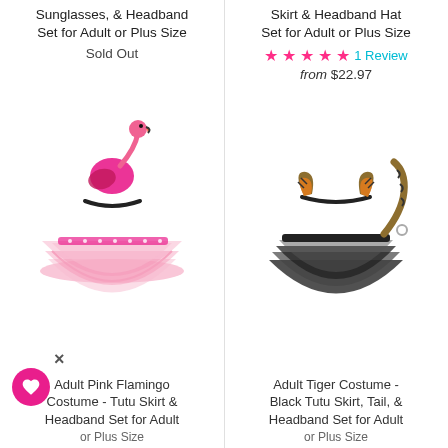Sunglasses, & Headband Set for Adult or Plus Size
Sold Out
Skirt & Headband Hat Set for Adult or Plus Size
★★★★★ 1 Review
from $22.97
[Figure (photo): Pink flamingo headband with pink tutu skirt costume set]
[Figure (photo): Tiger costume with brown/black tiger ear headband, tail, and black tutu skirt]
Adult Pink Flamingo Costume - Tutu Skirt & Headband Set for Adult or Plus Size
Adult Tiger Costume - Black Tutu Skirt, Tail, & Headband Set for Adult or Plus Size